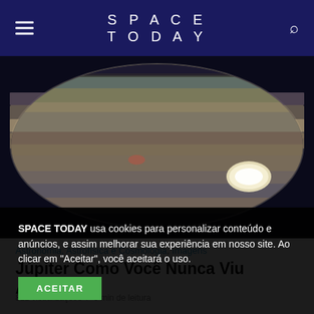SPACE TODAY
[Figure (photo): Close-up photograph of Jupiter showing its characteristic cloud bands and the Great Red Spot, taken against a dark background. The planet fills the frame showing detailed atmospheric banding in browns, tans, and muted greens.]
Astronomia, Astrofísica e Cosmologia, Imagens
Júpiter Como Você Nunca Viu Antes!!!
822 visualizações / 6 min de leitura
SPACE TODAY usa cookies para personalizar conteúdo e anúncios, e assim melhorar sua experiência em nosso site. Ao clicar em "Aceitar", você aceitará o uso.